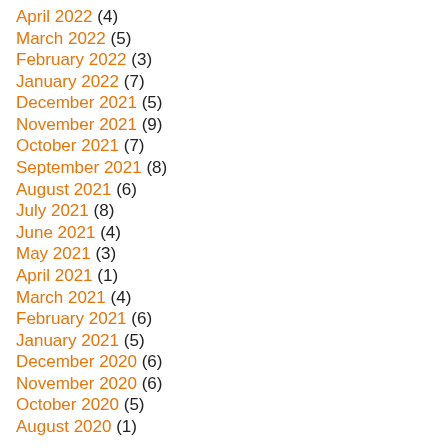April 2022 (4)
March 2022 (5)
February 2022 (3)
January 2022 (7)
December 2021 (5)
November 2021 (9)
October 2021 (7)
September 2021 (8)
August 2021 (6)
July 2021 (8)
June 2021 (4)
May 2021 (3)
April 2021 (1)
March 2021 (4)
February 2021 (6)
January 2021 (5)
December 2020 (6)
November 2020 (6)
October 2020 (5)
August 2020 (1)